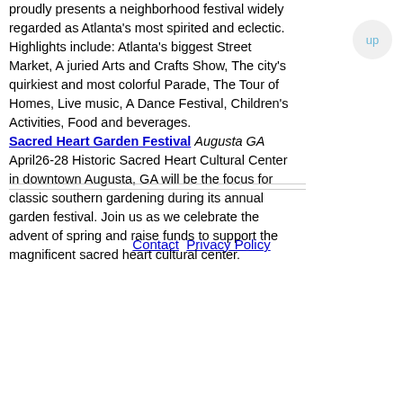proudly presents a neighborhood festival widely regarded as Atlanta's most spirited and eclectic. Highlights include: Atlanta's biggest Street Market, A juried Arts and Crafts Show, The city's quirkiest and most colorful Parade, The Tour of Homes, Live music, A Dance Festival, Children's Activities, Food and beverages. Sacred Heart Garden Festival Augusta GA April26-28 Historic Sacred Heart Cultural Center in downtown Augusta, GA will be the focus for classic southern gardening during its annual garden festival. Join us as we celebrate the advent of spring and raise funds to support the magnificent sacred heart cultural center.
Contact  Privacy Policy